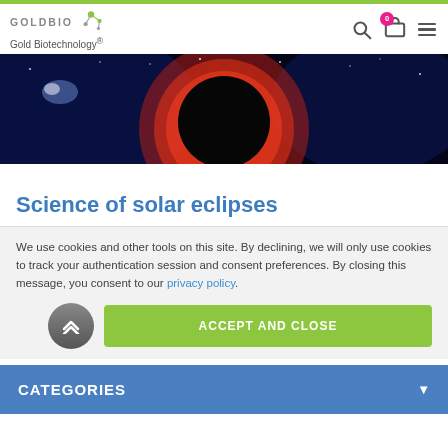GOLDBIO Gold Biotechnology®
[Figure (photo): Solar eclipse image showing a dark circular moon surrounded by a glowing red-orange corona against a dark space background]
Science of solar eclipses
We use cookies and other tools on this site. By declining, we will only use cookies to track your authentication session and consent preferences. By closing this message, you consent to our privacy policy.
ACCEPT AND CLOSE
CATEGORIES